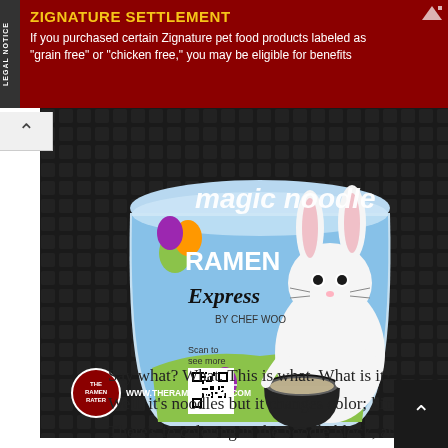[Figure (infographic): Advertisement banner with dark red background. Legal Notice sidebar on left. Yellow bold text reads 'ZIGNATURE SETTLEMENT'. White text below reads: 'If you purchased certain Zignature pet food products labeled as "grain free" or "chicken free," you may be eligible for benefits'. Small arrow icon top right.]
[Figure (photo): Photo of a Magic Noodles Ramen Express by Chef Woo cup/container with Easter bunny theme. Blue background with cartoon white bunny eating noodles from a bowl, decorated Easter eggs, colorful text 'magic noodles' at top, 'RAMEN Express BY CHEF WOO' in center, and a QR code with 'Scan to see more' text. On a dark woven surface background. Watermark: THE RAMEN RATER / WWW.THERAMENRATER.COM]
Say what? What. This is what. What is it? Well, it's noodles but it changes color; kind of. There's fo coloring in the noodle block, and so once you introduce